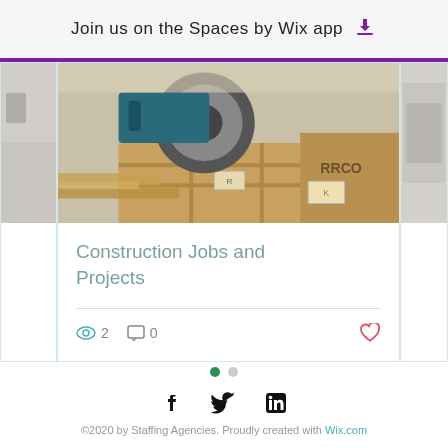Join us on the Spaces by Wix app
[Figure (photo): Construction site photo showing machinery, wheels, wooden crates and materials]
Construction Jobs and Projects
2 views  0 comments  like
[Figure (other): Carousel navigation dots: one green filled, one gray]
[Figure (other): Social media icons: Facebook, Twitter, LinkedIn]
©2020 by Staffing Agencies. Proudly created with Wix.com